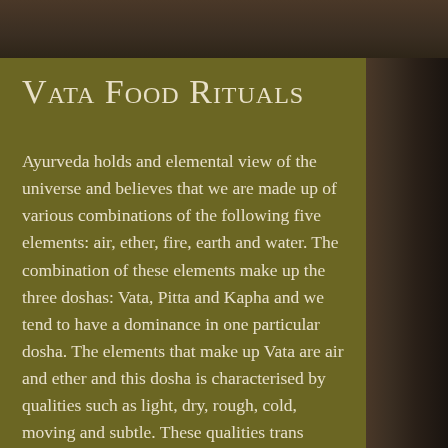Vata Food Rituals
Ayurveda holds and elemental view of the universe and believes that we are made up of various combinations of the following five elements: air, ether, fire, earth and water. The combination of these elements make up the three doshas: Vata, Pitta and Kapha and we tend to have a dominance in one particular dosha. The elements that make up Vata are air and ether and this dosha is characterised by qualities such as light, dry, rough, cold, moving and subtle. These qualities trans